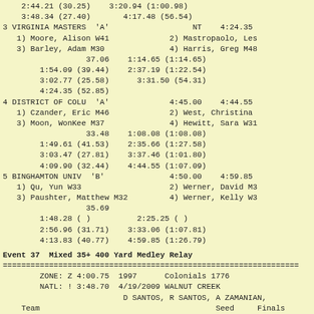2:44.21 (30.25)    3:20.94 (1:00.98)
3:48.34 (27.40)       4:17.48 (56.54)
3 VIRGINIA MASTERS  'A'                  NT    4:24.35
   1) Moore, Alison W41             2) Mastropaolo, Les
   3) Barley, Adam M30              4) Harris, Greg M48
                  37.06    1:14.65 (1:14.65)
        1:54.09 (39.44)    2:37.19 (1:22.54)
        3:02.77 (25.58)      3:31.50 (54.31)
        4:24.35 (52.85)
4 DISTRICT OF COLU  'A'             4:45.00    4:44.55
   1) Czander, Eric M46             2) West, Christina
   3) Moon, WonKee M37             4) Hewitt, Sara W31
                  33.48    1:08.08 (1:08.08)
        1:49.61 (41.53)    2:35.66 (1:27.58)
        3:03.47 (27.81)    3:37.46 (1:01.80)
        4:09.90 (32.44)    4:44.55 (1:07.09)
5 BINGHAMTON UNIV  'B'              4:50.00    4:59.85
   1) Qu, Yun W33                   2) Werner, David M3
   3) Paushter, Matthew M32         4) Werner, Kelly W3
                  35.69
        1:48.28 ( )          2:25.25 ( )
        2:56.96 (31.71)    3:33.06 (1:07.81)
        4:13.83 (40.77)    4:59.85 (1:26.79)
Event 37  Mixed 35+ 400 Yard Medley Relay
================================================================
        ZONE: Z 4:00.75  1997      Colonials 1776
        NATL: ! 3:48.70  4/19/2009 WALNUT CREEK
                          D SANTOS, R SANTOS, A ZAMANIAN,
    Team                                      Seed     Finals